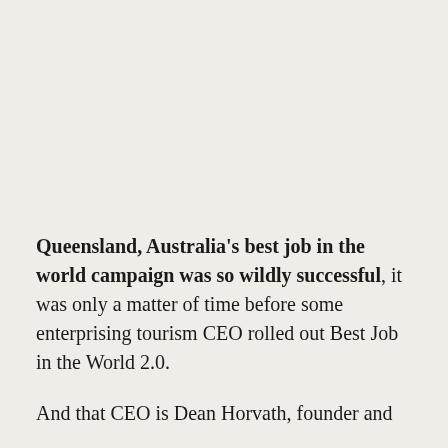Queensland, Australia's best job in the world campaign was so wildly successful, it was only a matter of time before some enterprising tourism CEO rolled out Best Job in the World 2.0.
And that CEO is Dean Horvath, founder and